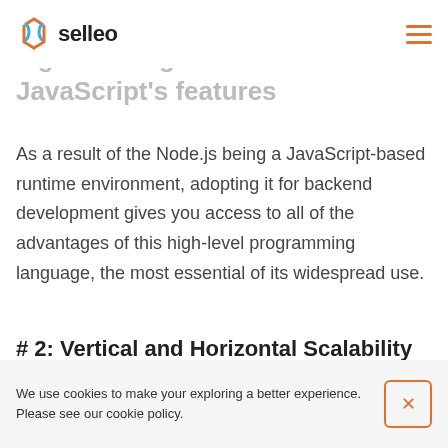selleo
...g advantage of all of JavaScript's features
As a result of the Node.js being a JavaScript-based runtime environment, adopting it for backend development gives you access to all of the advantages of this high-level programming language, the most essential of its widespread use.
# 2: Vertical and Horizontal Scalability
It allows you to scale your product in two
We use cookies to make your exploring a better experience. Please see our cookie policy.